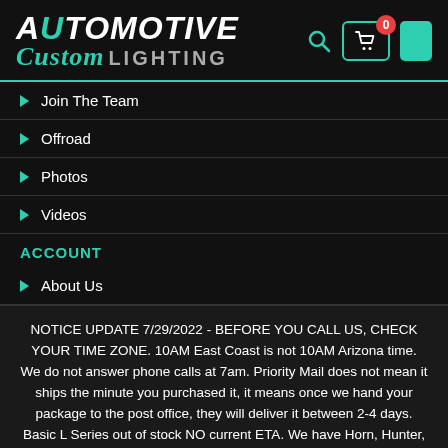[Figure (logo): Automotive Custom Lighting logo with teal/white text on dark background, plus search icon, cart icon with 0 badge, and green button]
Join The Team
Offroad
Photos
Videos
ACCOUNT
About Us
NOTICE UPDATE 7/29/2022 - BEFORE YOU CALL US, CHECK YOUR TIME ZONE. 10AM East Coast is not 10AM Arizona time. We do not answer phone calls at 7am. Priority Mail does not mean it ships the minute you purchased it, it means once we hand your package to the post office, they will deliver it between 2-4 days. Basic L Series out of stock NO current ETA. We have Horn, Hunter, Winch,and Wiper switches. If you need a more detailed time line, please call us at 855.259.3724. Dismiss